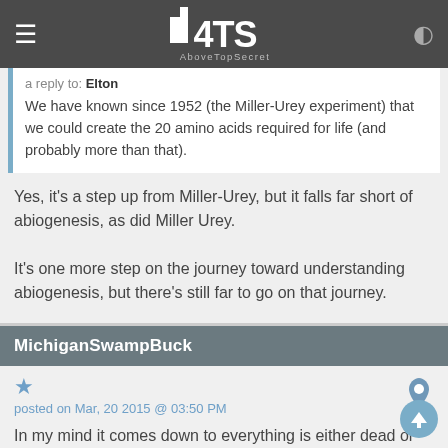4ITS AboveTopSecret
a reply to: Elton
We have known since 1952 (the Miller-Urey experiment) that we could create the 20 amino acids required for life (and probably more than that).
Yes, it's a step up from Miller-Urey, but it falls far short of abiogenesis, as did Miller Urey.

It's one more step on the journey toward understanding abiogenesis, but there's still far to go on that journey.
MichiganSwampBuck
posted on Mar, 20 2015 @ 03:50 PM
In my mind it comes down to everything is either dead or alive. If "life" came from "dead" particles or if "dead" particles came to "life".